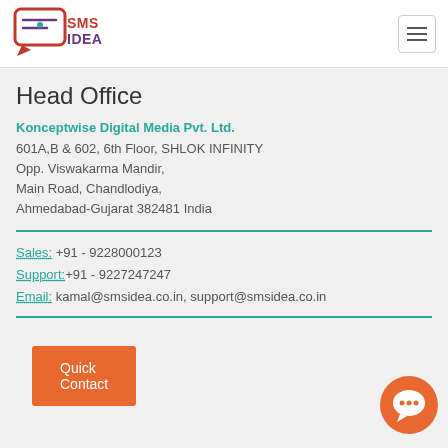[Figure (logo): SMS Idea logo with speech bubble icon and red/purple text]
[Figure (other): Hamburger menu button (three horizontal lines in a box)]
Head Office
Konceptwise Digital Media Pvt. Ltd.
601A,B & 602, 6th Floor, SHLOK INFINITY
Opp. Viswakarma Mandir,
Main Road, Chandlodiya,
Ahmedabad-Gujarat 382481 India
Sales: +91 - 9228000123
Support: +91 - 9227247247
Email: kamal@smsidea.co.in, support@smsidea.co.in
[Figure (other): Quick Contact orange button]
[Figure (other): Orange chat bubble icon in bottom right]